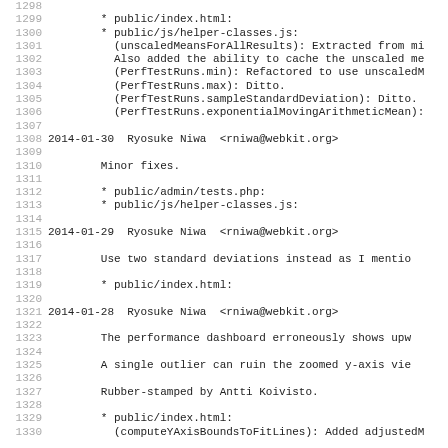Source code / changelog view with line numbers 1298-1330
1299        * public/index.html:
1300        * public/js/helper-classes.js:
1301          (unscaledMeansForAllResults): Extracted from mi
1302          Also added the ability to cache the unscaled me
1303          (PerfTestRuns.min): Refactored to use unscaledM
1304          (PerfTestRuns.max): Ditto.
1305          (PerfTestRuns.sampleStandardDeviation): Ditto.
1306          (PerfTestRuns.exponentialMovingArithmeticMean):
1308 2014-01-30  Ryosuke Niwa  <rniwa@webkit.org>
1310        Minor fixes.
1312        * public/admin/tests.php:
1313        * public/js/helper-classes.js:
1315 2014-01-29  Ryosuke Niwa  <rniwa@webkit.org>
1317        Use two standard deviations instead as I mentio
1319        * public/index.html:
1321 2014-01-28  Ryosuke Niwa  <rniwa@webkit.org>
1323        The performance dashboard erroneously shows upw
1325        A single outlier can ruin the zoomed y-axis vie
1327        Rubber-stamped by Antti Koivisto.
1329        * public/index.html:
1330          (computeYAxisBoundsToFitLines): Added adjustedM